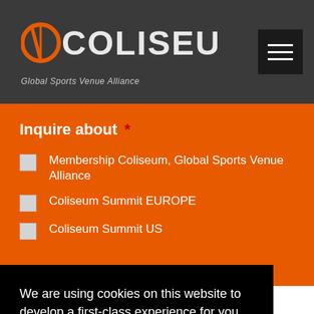COLISEUM - Global Sports Venue Alliance
Inquire about *
Membership Coliseum, Global Sports Venue Alliance
Coliseum Summit EUROPE
Coliseum Summit US
We are using cookies on this website to develop a first-class experience for you.
Learn more
Ok